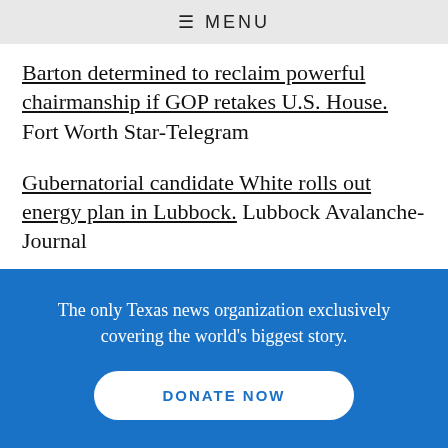≡ MENU
Barton determined to reclaim powerful chairmanship if GOP retakes U.S. House. Fort Worth Star-Telegram
Gubernatorial candidate White rolls out energy plan in Lubbock. Lubbock Avalanche-Journal
The only Texas news organization exclusively covering the world's biggest story.
DONATE NOW